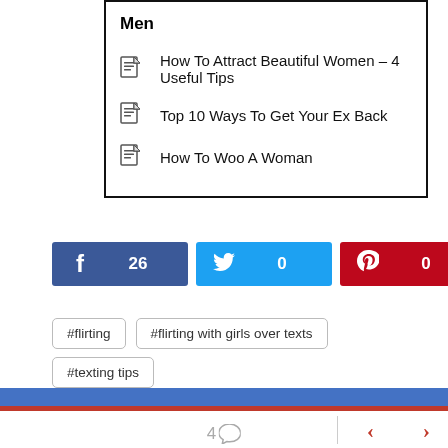Men
How To Attract Beautiful Women - 4 Useful Tips
Top 10 Ways To Get Your Ex Back
How To Woo A Woman
f 26  (Twitter) 0  (Pinterest) 0
#flirting
#flirting with girls over texts
#texting tips
4 comments navigation arrows